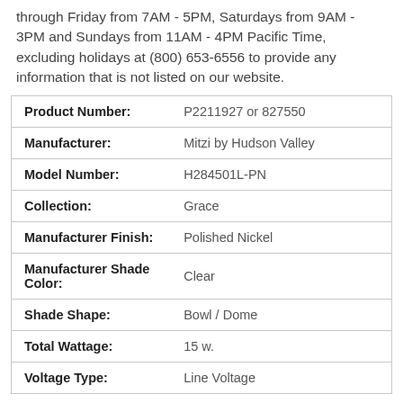through Friday from 7AM - 5PM, Saturdays from 9AM - 3PM and Sundays from 11AM - 4PM Pacific Time, excluding holidays at (800) 653-6556 to provide any information that is not listed on our website.
|  |  |
| --- | --- |
| Product Number: | P2211927 or 827550 |
| Manufacturer: | Mitzi by Hudson Valley |
| Model Number: | H284501L-PN |
| Collection: | Grace |
| Manufacturer Finish: | Polished Nickel |
| Manufacturer Shade Color: | Clear |
| Shade Shape: | Bowl / Dome |
| Total Wattage: | 15 w. |
| Voltage Type: | Line Voltage |